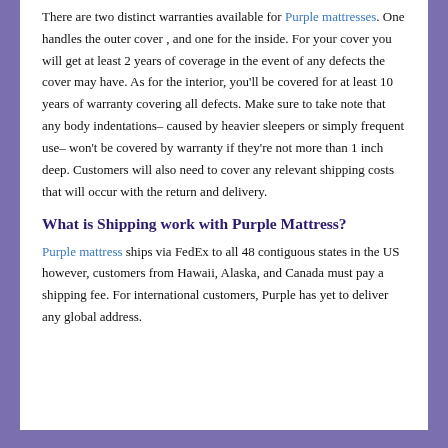There are two distinct warranties available for Purple mattresses. One handles the outer cover , and one for the inside. For your cover you will get at least 2 years of coverage in the event of any defects the cover may have. As for the interior, you'll be covered for at least 10 years of warranty covering all defects. Make sure to take note that any body indentations– caused by heavier sleepers or simply frequent use– won't be covered by warranty if they're not more than 1 inch deep. Customers will also need to cover any relevant shipping costs that will occur with the return and delivery.
What is Shipping work with Purple Mattress?
Purple mattress ships via FedEx to all 48 contiguous states in the US however, customers from Hawaii, Alaska, and Canada must pay a shipping fee. For international customers, Purple has yet to deliver any global address.